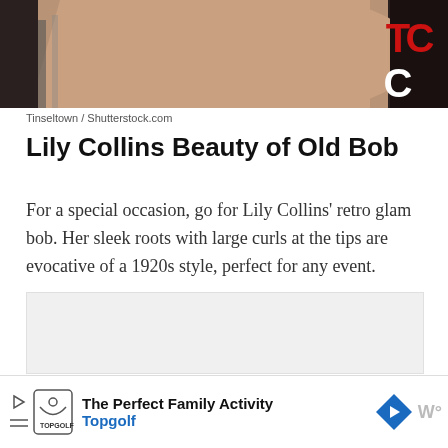[Figure (photo): Cropped photo showing a person's arm/shoulder in black outfit against dark background, with red and white text letters visible in top right corner]
Tinseltown / Shutterstock.com
Lily Collins Beauty of Old Bob
For a special occasion, go for Lily Collins’ retro glam bob. Her sleek roots with large curls at the tips are evocative of a 1920s style, perfect for any event.
[Figure (other): Gray advertisement placeholder box]
The Perfect Family Activity Topgolf